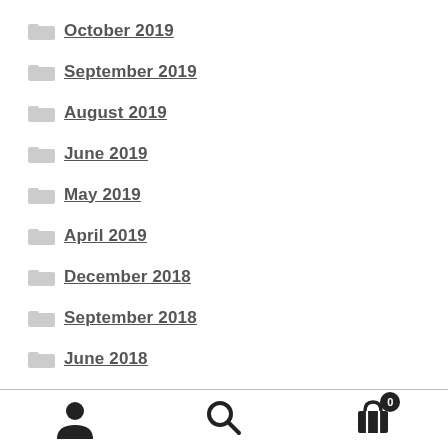October 2019
September 2019
August 2019
June 2019
May 2019
April 2019
December 2018
September 2018
June 2018
February 2018
December 2017
[Figure (infographic): Bottom navigation bar with user/account icon, search icon, and shopping cart icon with badge showing 0]